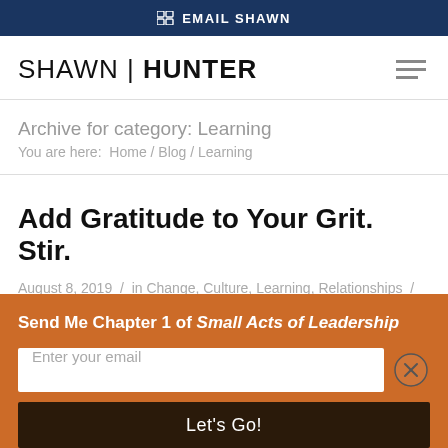EMAIL SHAWN
SHAWN | HUNTER
Archive for category: Learning
You are here:  Home / Blog / Learning
Add Gratitude to Your Grit. Stir.
August 8, 2019  /  in Change, Culture, Learning, Relationships  /  by Shawn Hunter
Send Me Chapter 1 of Small Acts of Leadership
Enter your email
Let's Go!